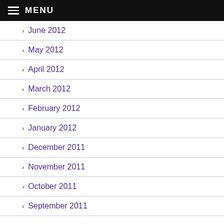MENU
June 2012
May 2012
April 2012
March 2012
February 2012
January 2012
December 2011
November 2011
October 2011
September 2011